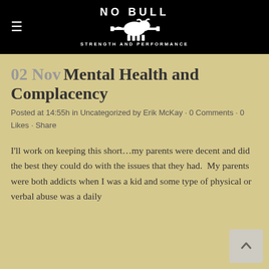[Figure (logo): No Bull Strength and Performance logo — white text and bull graphic on black background]
02 Nov Mental Health and Complacency
Posted at 14:55h in Uncategorized by Erik McKay · 0 Comments · 0 Likes · Share
I'll work on keeping this short…my parents were decent and did the best they could do with the issues that they had.  My parents were both addicts when I was a kid and some type of physical or verbal abuse was a daily